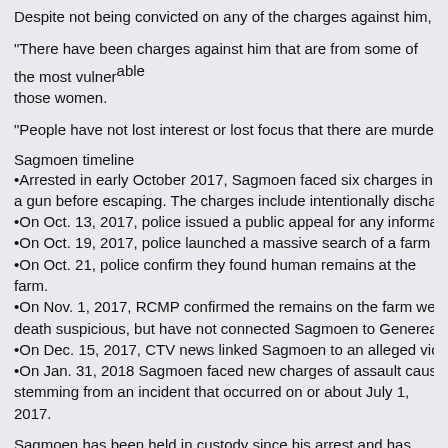Despite not being convicted on any of the charges against him, Sagmoen has
“There have been charges against him that are from some of the most vulnerable women, those women.
“People have not lost interest or lost focus that there are murdered and missing
Sagmoen timeline
•Arrested in early October 2017, Sagmoen faced six charges in connection with a gun before escaping. The charges include intentionally discharging a firearm
•On Oct. 13, 2017, police issued a public appeal for any information on the m
•On Oct. 19, 2017, police launched a massive search of a farm on Salmon Ri
•On Oct. 21, police confirm they found human remains at the farm.
•On Nov. 1, 2017, RCMP confirmed the remains on the farm were those of 18 death suspicious, but have not connected Sagmoen to Genereaux in any way
•On Dec. 15, 2017, CTV news linked Sagmoen to an alleged violent incident
•On Jan. 31, 2018 Sagmoen faced new charges of assault causing bodily harm stemming from an incident that occurred on or about July 1, 2017.
Sagmoen has been held in custody since his arrest and has had bail hearings granted bail.
https://www.castanet.net/edition/news-story-219913-2-.htm
The next text block has been clipped at the bottom.